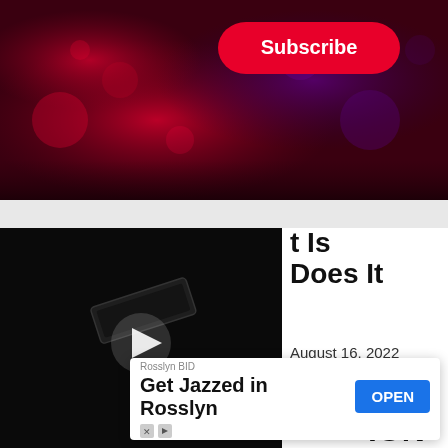[Figure (screenshot): Subscribe button banner with red/purple bokeh background, dark gradient overlay]
[Figure (screenshot): Video player thumbnail showing a dark pedal/hardware on black background with a play button. Partially overlaid by article title text 't Is' and 'Does It'. Below video are two more video thumbnails showing audio equipment and a person with headphones. A PC Magazine logo overlay appears at top right of lower thumbnails.]
t Is
Does It
August 16, 2022
[Figure (screenshot): Advertisement banner: Rosslyn BID — Get Jazzed in Rosslyn — OPEN button (blue). Ad attribution icons at bottom left.]